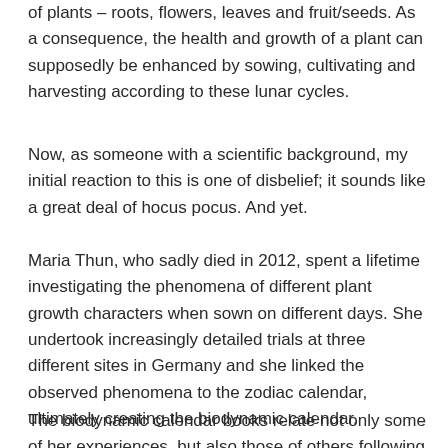of plants – roots, flowers, leaves and fruit/seeds.  As a consequence, the health and growth of a plant can supposedly be enhanced by sowing, cultivating and harvesting according to these lunar cycles.
Now, as someone with a scientific background, my initial reaction to this is one of disbelief; it sounds like a great deal of hocus pocus.  And yet.
Maria Thun, who sadly died in 2012, spent a lifetime investigating the phenomena of different plant growth characters when sown on different days.  She undertook increasingly detailed trials at three different sites in Germany and she linked the observed phenomena to the zodiac calendar, ultimately creating the biodynamic calendar.
The biodynamic calendar books relate not only some of her experiences, but also those of others following these principles.  Notably this year they tell the story of the